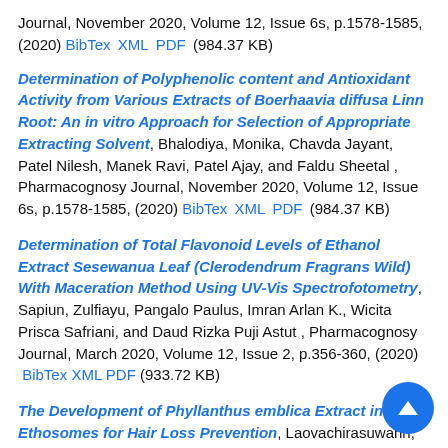Journal, November 2020, Volume 12, Issue 6s, p.1578-1585, (2020) BibTex XML PDF (984.37 KB)
Determination of Polyphenolic content and Antioxidant Activity from Various Extracts of Boerhaavia diffusa Linn Root: An in vitro Approach for Selection of Appropriate Extracting Solvent, Bhalodiya, Monika, Chavda Jayant, Patel Nilesh, Manek Ravi, Patel Ajay, and Faldu Sheetal, Pharmacognosy Journal, November 2020, Volume 12, Issue 6s, p.1578-1585, (2020) BibTex XML PDF (984.37 KB)
Determination of Total Flavonoid Levels of Ethanol Extract Sesewanua Leaf (Clerodendrum Fragrans Wild) With Maceration Method Using UV-Vis Spectrofotometry, Sapiun, Zulfiayu, Pangalo Paulus, Imran Arlan K., Wicita Prisca Safriani, and Daud Rizka Puji Astut, Pharmacognosy Journal, March 2020, Volume 12, Issue 2, p.356-360, (2020) BibTex XML PDF (933.72 KB)
The Development of Phyllanthus emblica Extract in Ethosomes for Hair Loss Prevention, Laovachirasuwan, Pornpun, Fuangbangluang Wutthichart, Phanichanaphan Atchariyaporn, Nasomroop Issarapong, and Phadungkit Methin,